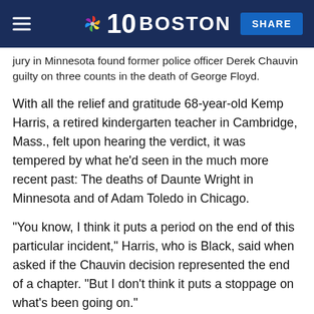NBC 10 Boston — SHARE
jury in Minnesota found former police officer Derek Chauvin guilty on three counts in the death of George Floyd.
With all the relief and gratitude 68-year-old Kemp Harris, a retired kindergarten teacher in Cambridge, Mass., felt upon hearing the verdict, it was tempered by what he'd seen in the much more recent past: The deaths of Daunte Wright in Minnesota and of Adam Toledo in Chicago.
"You know, I think it puts a period on the end of this particular incident," Harris, who is Black, said when asked if the Chauvin decision represented the end of a chapter. "But I don't think it puts a stoppage on what's been going on."
In Columbus, Ohio, some residents had their celebrations cut short by reports that police fatally shot a teenage Black